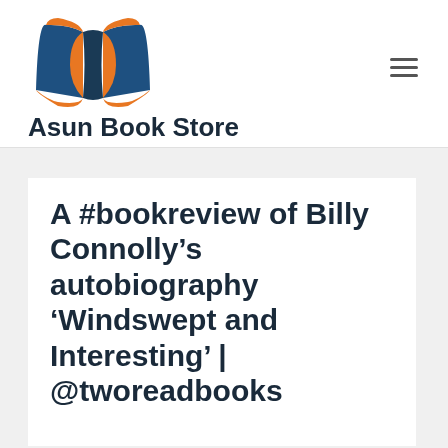[Figure (logo): Asun Book Store logo: open book with orange pages and dark blue covers]
Asun Book Store
A #bookreview of Billy Connolly’s autobiography ‘Windswept and Interesting’ | @tworeadbooks